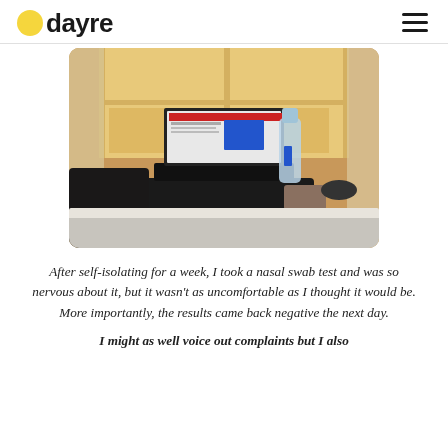dayre
[Figure (photo): A laptop computer with a water bottle and phone on a dark round table near a large window with golden-hour sunlight, a person reclining on a bed in the foreground, city view visible through the window]
After self-isolating for a week, I took a nasal swab test and was so nervous about it, but it wasn't as uncomfortable as I thought it would be. More importantly, the results came back negative the next day.
I might as well voice out complaints but I also